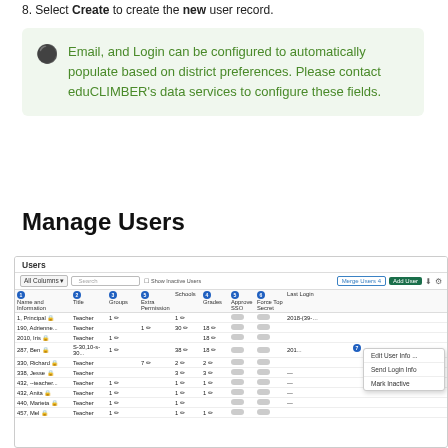8. Select Create to create the new user record.
Email, and Login can be configured to automatically populate based on district preferences. Please contact eduCLIMBER's data services to configure these fields.
Manage Users
[Figure (screenshot): Screenshot of the Manage Users interface showing a Users table with columns: Name and Information, Title, Groups, Extra Permission, Schools, Grades, Approve SSO, Force Top Secret, Last Login. Rows show various teacher records. A context menu is open showing options: Edit User Info, Send Login Info, Mark Inactive. Toolbar includes All Columns dropdown, Search box, Show Inactive Users checkbox, Merge Users button, Add User button.]